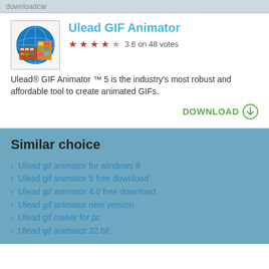downloadcar
[Figure (logo): Ulead GIF Animator app icon — globe with colorful film strip]
Ulead GIF Animator
3.6 on 48 votes
Ulead® GIF Animator ™ 5 is the industry's most robust and affordable tool to create animated GIFs.
DOWNLOAD
Similar choice
› Ulead gif animator for windows 8
› Ulead gif animator 5 free download
› Ulead gif animator 4.0 free download
› Ulead gif animator new version
› Ulead gif maker for pc
› Ulead gif animator 32 bit